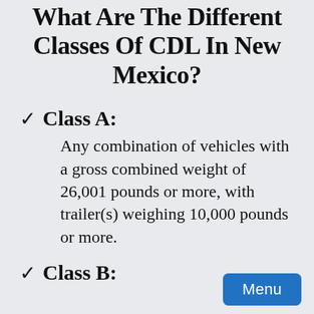What Are The Different Classes Of CDL In New Mexico?
✓ Class A:
Any combination of vehicles with a gross combined weight of 26,001 pounds or more, with trailer(s) weighing 10,000 pounds or more.
✓ Class B: